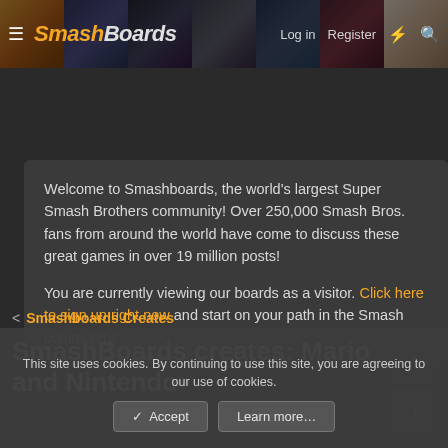SmashBoards — Log in | Register
Welcome to Smashboards, the world's largest Super Smash Brothers community! Over 250,000 Smash Bros. fans from around the world have come to discuss these great games in over 19 million posts!

You are currently viewing our boards as a visitor. Click here to sign up right now and start on your path in the Smash community!
Smashboards Creates
SmashBoards creates: Mario and Nintendo
This site uses cookies. By continuing to use this site, you are agreeing to our use of cookies.